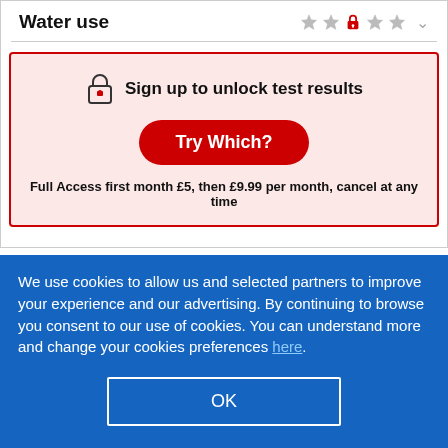Water use
[Figure (other): Lock icon with red padlock indicating locked/premium content, star rating row with 5 stars (3rd star is red lock icon), and chevron dropdown]
Sign up to unlock test results
Try Which?
Full Access first month £5, then £9.99 per month, cancel at any time
We use cookies to allow us and selected partners to improve your experience and our advertising. By continuing to browse you consent to our use of cookies. You can understand more and change your cookies preferences here.
OK